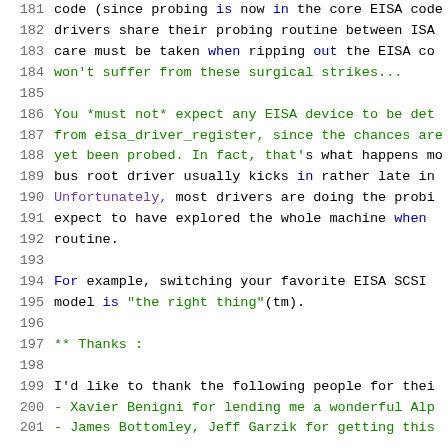181  code (since probing is now in the core EISA code
182  drivers share their probing routine between ISA
183  care must be taken when ripping out the EISA co
184  won't suffer from these surgical strikes...
185
186  You *must not* expect any EISA device to be det
187  from eisa_driver_register, since the chances are
188  yet been probed. In fact, that's what happens mo
189  bus root driver usually kicks in rather late in
190  Unfortunately, most drivers are doing the probi
191  expect to have explored the whole machine when
192  routine.
193
194  For example, switching your favorite EISA SCSI
195  model is "the right thing"(tm).
196
197  ** Thanks :
198
199  I'd like to thank the following people for thei
200  - Xavier Benigni for lending me a wonderful Alp
201  - James Bottomley, Jeff Garzik for getting this